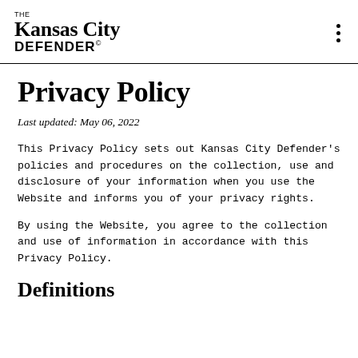THE Kansas City DEFENDER©
Privacy Policy
Last updated: May 06, 2022
This Privacy Policy sets out Kansas City Defender's policies and procedures on the collection, use and disclosure of your information when you use the Website and informs you of your privacy rights.
By using the Website, you agree to the collection and use of information in accordance with this Privacy Policy.
Definitions